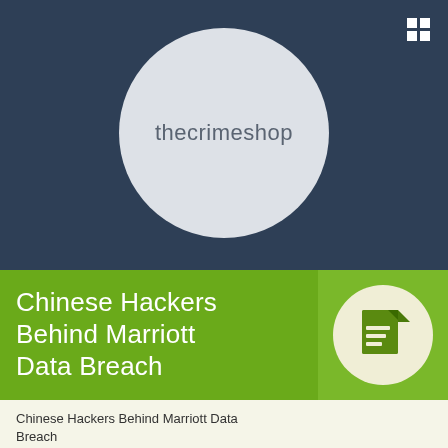[Figure (logo): thecrimeshop logo — light grey circle on dark navy background with text 'thecrimeshop' in thin grey font]
Chinese Hackers Behind Marriott Data Breach
[Figure (illustration): Document/notes icon inside a white circle on green background]
Chinese Hackers Behind Marriott Data Breach